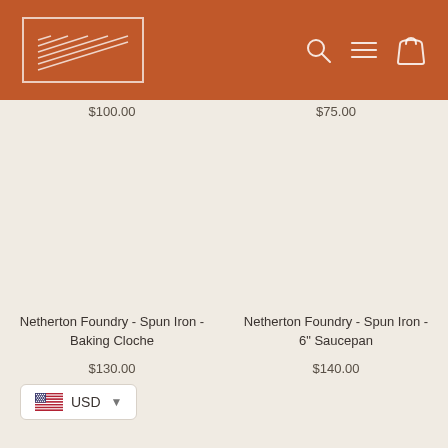[Figure (logo): Netherton Foundry logo with diagonal lines in a rectangle on terracotta/burnt orange navigation header]
$100.00
$75.00
Netherton Foundry - Spun Iron - Baking Cloche
$130.00
Netherton Foundry - Spun Iron - 6" Saucepan
$140.00
USD